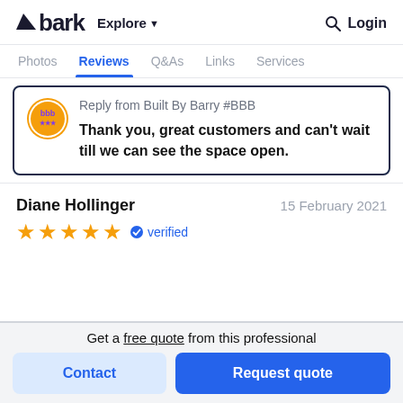bark  Explore  Login
Photos  Reviews  Q&As  Links  Services
Reply from Built By Barry #BBB
Thank you, great customers and can't wait till we can see the space open.
Diane Hollinger    15 February 2021
★★★★★  verified
Get a free quote from this professional
Contact
Request quote